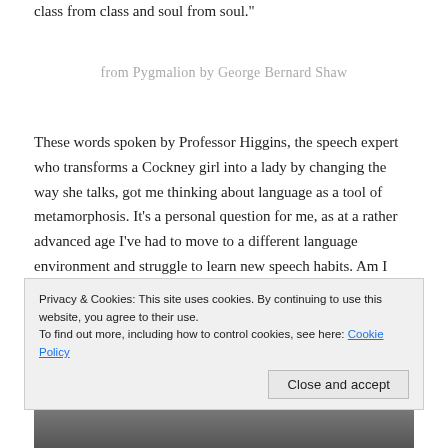class from class and soul from soul."
from Pygmalion by George Bernard Shaw
These words spoken by Professor Higgins, the speech expert who transforms a Cockney girl into a lady by changing the way she talks, got me thinking about language as a tool of metamorphosis. It’s a personal question for me, as at a rather advanced age I’ve had to move to a different language environment and struggle to learn new speech habits. Am I changing into a “quite different human being”? Has it “profoundly” affected my life?
Privacy & Cookies: This site uses cookies. By continuing to use this website, you agree to their use.
To find out more, including how to control cookies, see here: Cookie Policy
[Figure (photo): Black and white photograph strip at bottom of page, partially visible]